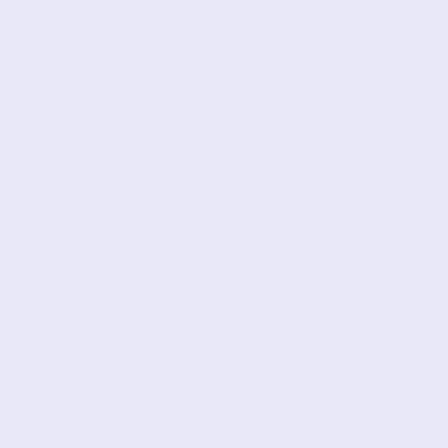Sky Star Outlet Online was added to Nike Blazer...</div><br /> class="normalprice">$220.00 </span>&nbsp;<span class="productSpecialPrice">$99.00</span><span class="produ <br />Save:&nbsp;55% off</span><br /><br /><br /><br /></d <div class="centerBoxContentsProducts centeredContent back" style="width:30.5%;"><a href="http://www.nikeu.net/nike-blaz green-wave-point-outlet-online-p-2150.html"><div style="verti middle;height:147px;"><img src="http://www.nikeu.net/images/_small//nike05/Nike-Blazer/ Low/Nike-Blazer-Black-and-light-green-Wave-Point.jpg" alt="l and light green Wave Point Outlet Online" title=" Nike Blazer B Wave Point Outlet Online " width="220" height="147" class="l id="listimg" /></div></a><br /><h3 class="itemTitle"><a href="http://www.nikeu.net/nike-blazer-black-and-light-green-w online-p-2150.html">Nike Blazer Black and light green Wave P Online</a></h3><div class="listingDescription">Nike Blazer B Wave Point Outlet Online was added to...</div><br /><span class="normalprice">$258.00 </span>&nbsp;<span class="productSpecialPrice">$92.00</span><span class="produ <br />Save:&nbsp;64% off</span><br /><br /><br /><br /></d <br class="clearBoth" /><div class="centerBoxContentsProdu back" style="width:30.5%;"><a href="http://www.nikeu.net/nik wave-point-outlet-online-p-2146.html"><div style="vertical-ali middle;height:147px;"><img src="http://www.nikeu.net/images/_small//nike05/Nike-Blazer/ Low/Nike-Blazer-Blue-Grey-lt-blue-Outlet-Online.jp...